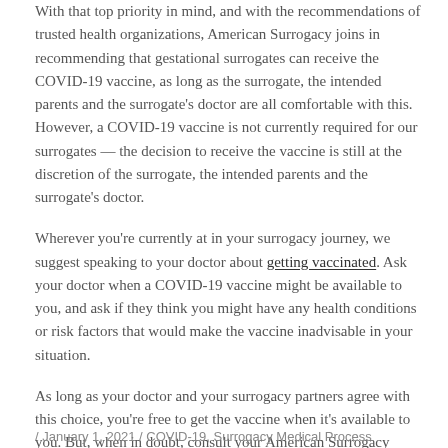With that top priority in mind, and with the recommendations of trusted health organizations, American Surrogacy joins in recommending that gestational surrogates can receive the COVID-19 vaccine, as long as the surrogate, the intended parents and the surrogate's doctor are all comfortable with this. However, a COVID-19 vaccine is not currently required for our surrogates — the decision to receive the vaccine is still at the discretion of the surrogate, the intended parents and the surrogate's doctor.
Wherever you're currently at in your surrogacy journey, we suggest speaking to your doctor about getting vaccinated. Ask your doctor when a COVID-19 vaccine might be available to you, and ask if they think you might have any health conditions or risk factors that would make the vaccine inadvisable in your situation.
As long as your doctor and your surrogacy partners agree with this choice, you're free to get the vaccine when it's available to you. But, when in doubt, consult your American Surrogacy specialist!
/ January 1, 2021 / COVID-19, Surrogacy Medical Process